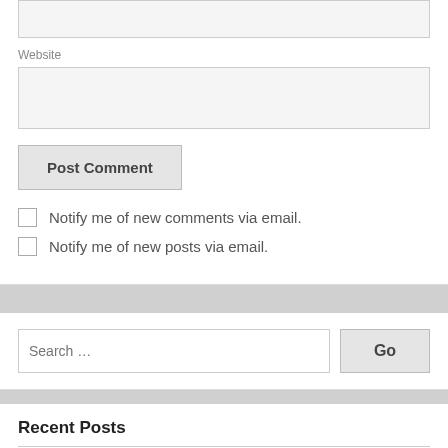[Figure (screenshot): Website input field (text box, partially visible at top)]
Website
[Figure (screenshot): Website URL input text box (empty)]
[Figure (screenshot): Post Comment button]
Notify me of new comments via email.
Notify me of new posts via email.
[Figure (screenshot): Search input field with placeholder 'Search ...' and Go button]
Recent Posts
Some observations FROM cORONA oUTBREAK